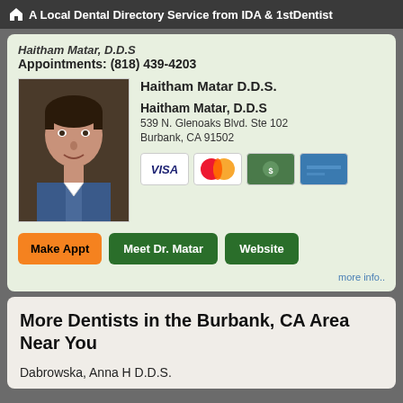A Local Dental Directory Service from IDA & 1stDentist
Haitham Matar, D.D.S
Appointments: (818) 439-4203
[Figure (photo): Portrait photo of Dr. Haitham Matar]
Haitham Matar D.D.S.
Haitham Matar, D.D.S
539 N. Glenoaks Blvd. Ste 102
Burbank, CA 91502
[Figure (other): Credit card logos: Visa, MasterCard, American Express, and one more card]
Make Appt   Meet Dr. Matar   Website
more info..
More Dentists in the Burbank, CA Area Near You
Dabrowska, Anna H D.D.S.